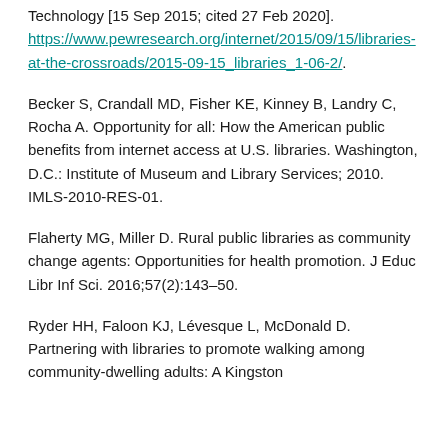Technology [15 Sep 2015; cited 27 Feb 2020]. https://www.pewresearch.org/internet/2015/09/15/libraries-at-the-crossroads/2015-09-15_libraries_1-06-2/.
Becker S, Crandall MD, Fisher KE, Kinney B, Landry C, Rocha A. Opportunity for all: How the American public benefits from internet access at U.S. libraries. Washington, D.C.: Institute of Museum and Library Services; 2010. IMLS-2010-RES-01.
Flaherty MG, Miller D. Rural public libraries as community change agents: Opportunities for health promotion. J Educ Libr Inf Sci. 2016;57(2):143–50.
Ryder HH, Faloon KJ, Lévesque L, McDonald D. Partnering with libraries to promote walking among community-dwelling adults: A Kingston...